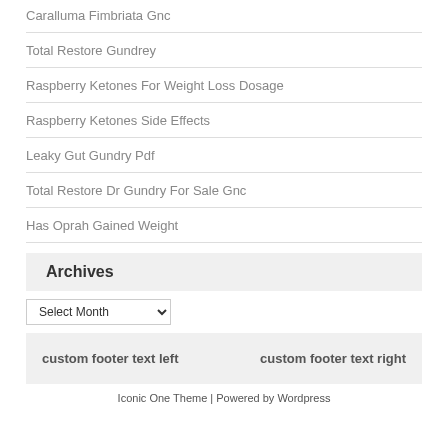Caralluma Fimbriata Gnc
Total Restore Gundrey
Raspberry Ketones For Weight Loss Dosage
Raspberry Ketones Side Effects
Leaky Gut Gundry Pdf
Total Restore Dr Gundry For Sale Gnc
Has Oprah Gained Weight
Archives
Select Month
custom footer text left     custom footer text right
Iconic One Theme | Powered by Wordpress